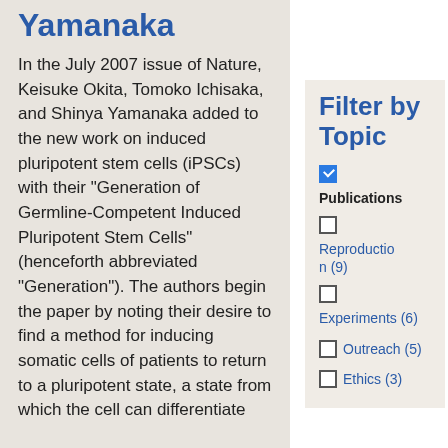Yamanaka
In the July 2007 issue of Nature, Keisuke Okita, Tomoko Ichisaka, and Shinya Yamanaka added to the new work on induced pluripotent stem cells (iPSCs) with their "Generation of Germline-Competent Induced Pluripotent Stem Cells" (henceforth abbreviated "Generation"). The authors begin the paper by noting their desire to find a method for inducing somatic cells of patients to return to a pluripotent state, a state from which the cell can differentiate
Filter by Topic
Publications (checked)
Reproduction (9)
Experiments (6)
Outreach (5)
Ethics (3)